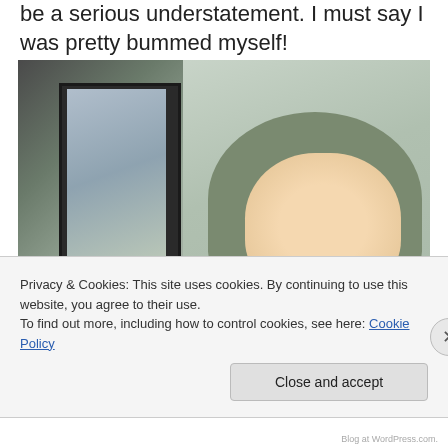be a serious understatement. I must say I was pretty bummed myself!
[Figure (photo): A young boy wearing a grey knit hoodie, smiling at the camera. He is seated near a window, possibly in a vehicle or tram. The left side of the image shows a dark window frame with glass reflecting outdoor scenery including a car.]
Privacy & Cookies: This site uses cookies. By continuing to use this website, you agree to their use.
To find out more, including how to control cookies, see here: Cookie Policy